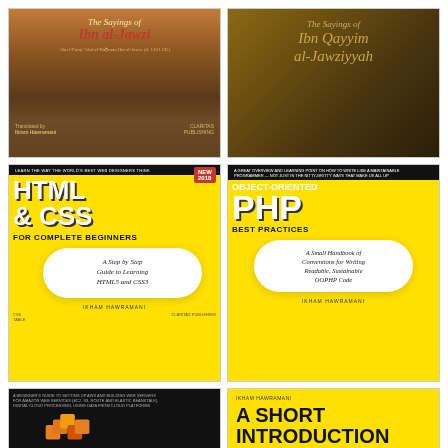[Figure (illustration): Book cover: The Sayings of Ibn al-Jawzi, with autumn foggy forest background, dark earthy tones]
[Figure (illustration): Book cover: The Sayings of Ibn Qayyim al-Jawziyyah, with forest boardwalk path background, dark autumn tones]
[Figure (illustration): Book cover: HTML & CSS for Complete Beginners, yellow and black cover, NEW 2018 badge, cloud shape with step by step guide description, by Ikham Hawramani]
[Figure (illustration): Book cover: Object-Oriented PHP Best Practices, yellow and black cover, cloud shape with handbook description, by Ikham Hawramani]
[Figure (illustration): Book cover: Cloud Computing, dark background with orange cube icons]
[Figure (illustration): Book cover: A Short Introduction to Usury, yellow background, bold black text, by Ikham Hawramani]